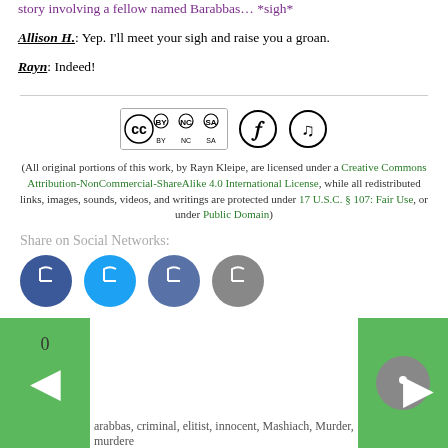story involving a fellow named Barabbas… *sigh*
Allison H.: Yep. I'll meet your sigh and raise you a groan.
Rayn: Indeed!
[Figure (logo): Creative Commons BY-NC-SA license badge and two additional icon badges]
(All original portions of this work, by Rayn Kleipe, are licensed under a Creative Commons Attribution-NonCommercial-ShareAlike 4.0 International License, while all redistributed links, images, sounds, videos, and writings are protected under 17 U.S.C. § 107: Fair Use, or under Public Domain)
Share on Social Networks:
[Figure (other): Social network sharing icons: Facebook, Twitter, LinkedIn, and a grey icon]
0
barabbas, criminal, elitist, innocent, Mashiach, Murder, murdere…